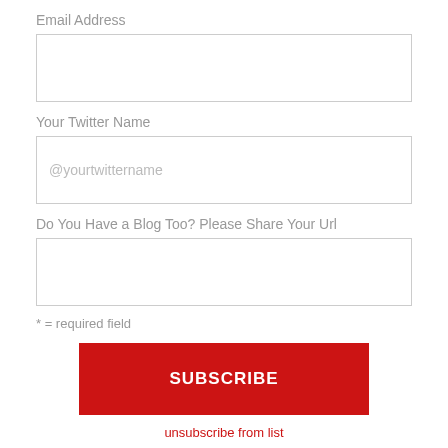Email Address
Your Twitter Name
@yourtwittername
Do You Have a Blog Too? Please Share Your Url
* = required field
SUBSCRIBE
unsubscribe from list